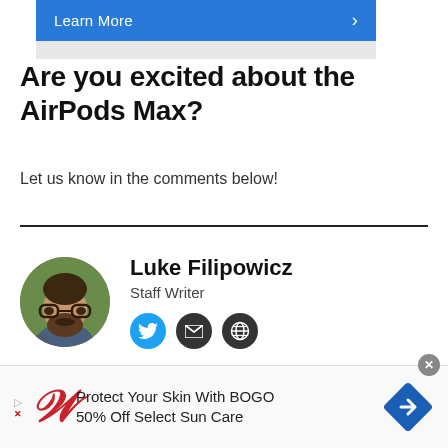[Figure (other): Blue 'Learn More' button with right arrow chevron, followed by a light gray bar beneath it]
Are you excited about the AirPods Max?
Let us know in the comments below!
Luke Filipowicz
Staff Writer
[Figure (photo): Circular profile photo of Luke Filipowicz, a man with glasses and a beard]
[Figure (other): Social media icons: Twitter (blue circle), Email (dark circle), Website/Globe (dark circle)]
[Figure (other): Advertisement banner: Walgreens ad - 'Protect Your Skin With BOGO 50% Off Select Sun Care']